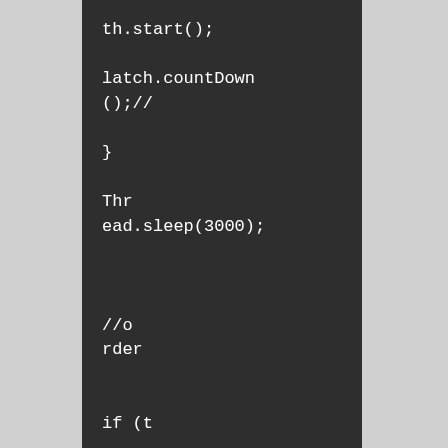th.start();

latch.countDown();//
                        }
                        Thread.sleep(3000);


                        //order

                        if (true) {


Set<String> orders = jedis1.smembers(fastBuyBusinessDTO.getOrderListId());